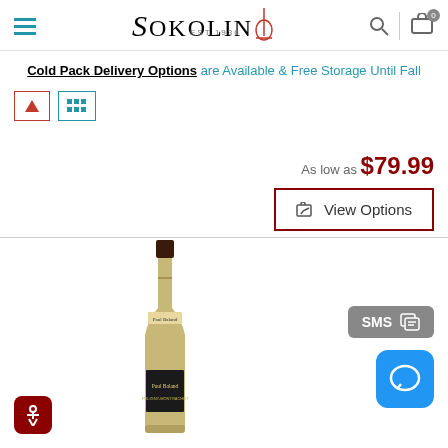Sokolin EST.1996 - header with navigation, search, and cart
Cold Pack Delivery Options are Available & Free Storage Until Fall
As low as $79.99
View Options
[Figure (photo): Wine bottle - Puligny-Montrachet white wine with dark cap and label]